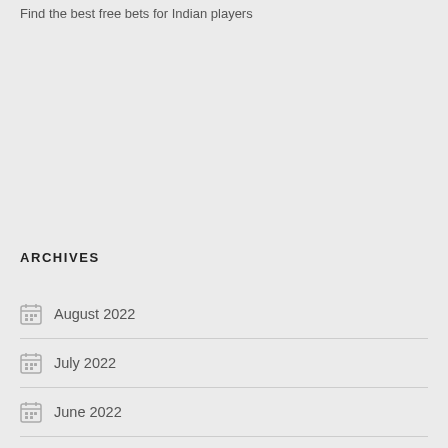Find the best free bets for Indian players
ARCHIVES
August 2022
July 2022
June 2022
May 2022